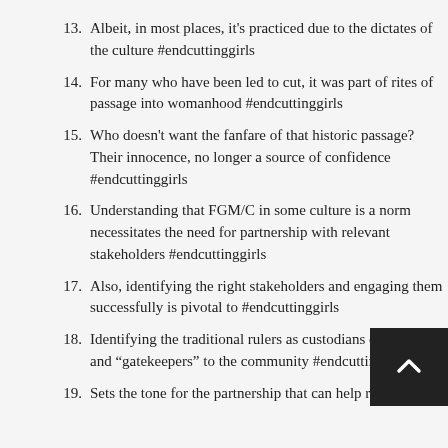13. Albeit, in most places, it's practiced due to the dictates of the culture #endcuttinggirls
14. For many who have been led to cut, it was part of rites of passage into womanhood #endcuttinggirls
15. Who doesn't want the fanfare of that historic passage? Their innocence, no longer a source of confidence #endcuttinggirls
16. Understanding that FGM/C in some culture is a norm necessitates the need for partnership with relevant stakeholders #endcuttinggirls
17. Also, identifying the right stakeholders and engaging them successfully is pivotal to #endcuttinggirls
18. Identifying the traditional rulers as custodians of culture and “gatekeepers” to the community #endcuttinggirls
19. Sets the tone for the partnership that can help reverse this